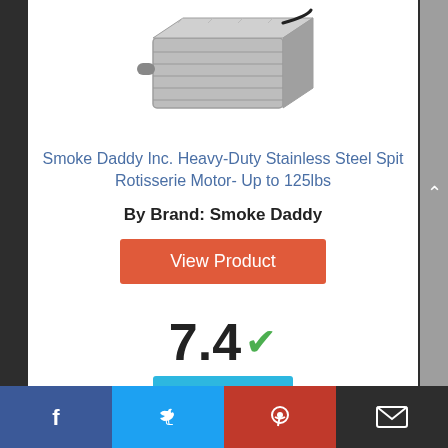[Figure (photo): Product photo of a stainless steel rotisserie motor device with power cord]
Smoke Daddy Inc. Heavy-Duty Stainless Steel Spit Rotisserie Motor- Up to 125lbs
By Brand: Smoke Daddy
View Product
7.4 ✓
Score
Facebook | Twitter | Pinterest | Mail